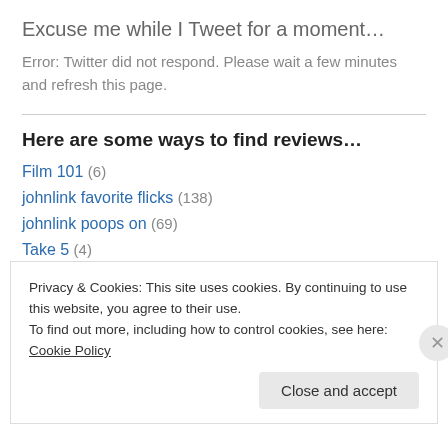Excuse me while I Tweet for a moment…
Error: Twitter did not respond. Please wait a few minutes and refresh this page.
Here are some ways to find reviews…
Film 101 (6)
johnlink favorite flicks (138)
johnlink poops on (69)
Take 5 (4)
Privacy & Cookies: This site uses cookies. By continuing to use this website, you agree to their use. To find out more, including how to control cookies, see here: Cookie Policy
Close and accept